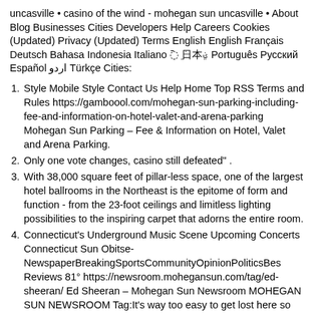uncasville • casino of the wind - mohegan sun uncasville • About Blog Businesses Cities Developers Help Careers Cookies (Updated) Privacy (Updated) Terms English English Français Deutsch Bahasa Indonesia Italiano 한국어 日本語 Português Русский Español اردو Türkçe Cities:
Style Mobile Style Contact Us Help Home Top RSS Terms and Rules https://gamboool.com/mohegan-sun-parking-including-fee-and-information-on-hotel-valet-and-arena-parking Mohegan Sun Parking – Fee & Information on Hotel, Valet and Arena Parking.
Only one vote changes, casino still defeated" .
With 38,000 square feet of pillar-less space, one of the largest hotel ballrooms in the Northeast is the epitome of form and function - from the 23-foot ceilings and limitless lighting possibilities to the inspiring carpet that adorns the entire room.
Connecticut's Underground Music Scene Upcoming Concerts Connecticut Sun Obitse-NewspaperBreakingSportsCommunityOpinionPoliticsBes Reviews 81° https://newsroom.mohegansun.com/tag/ed-sheeran/ Ed Sheeran – Mohegan Sun Newsroom MOHEGAN SUN NEWSROOM Tag:It's way too easy to get lost here so make sure you take a picture of which